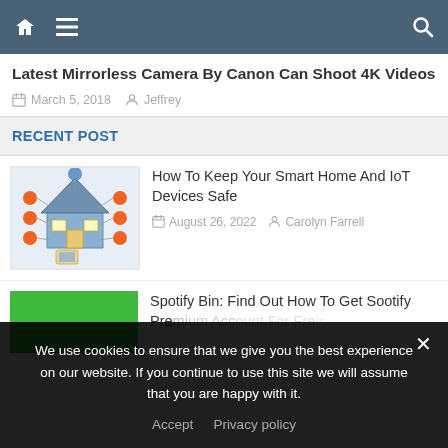Navigation bar with home, menu, and search icons
Latest Mirrorless Camera By Canon Can Shoot 4K Videos
March 5, 2018  Jeffrey
RECENT POST
[Figure (illustration): Smart home IoT illustration showing a house connected to various devices with orange dots and lines, with a hand holding a tablet in the foreground]
How To Keep Your Smart Home And IoT Devices Safe
August 26, 2022  Carolyn Farrell
[Figure (illustration): Green background thumbnail for Spotify article]
Spotify Bin: Find Out How To Get Spotify Premium Account For Free
We use cookies to ensure that we give you the best experience on our website. If you continue to use this site we will assume that you are happy with it.
Accept  Privacy policy